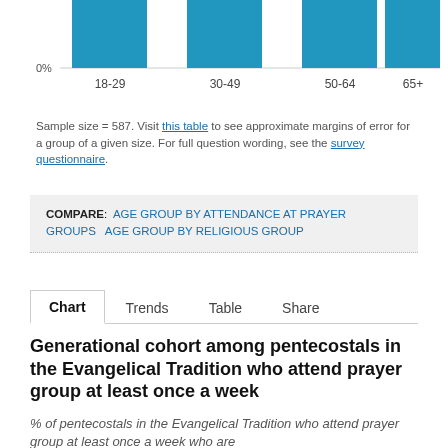[Figure (bar-chart): Partial bar chart visible at top of page showing age groups 18-29, 30-49, 50-64, 65+ with teal bars; 0% baseline visible]
Sample size = 587. Visit this table to see approximate margins of error for a group of a given size. For full question wording, see the survey questionnaire.
COMPARE: AGE GROUP BY ATTENDANCE AT PRAYER GROUPS  AGE GROUP BY RELIGIOUS GROUP
Chart  Trends  Table  Share
Generational cohort among pentecostals in the Evangelical Tradition who attend prayer group at least once a week
% of pentecostals in the Evangelical Tradition who attend prayer group at least once a week who are